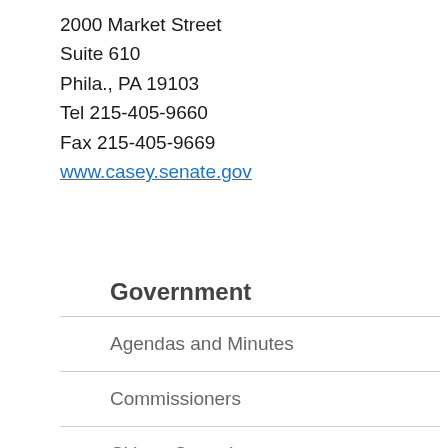2000 Market Street
Suite 610
Phila., PA 19103
Tel 215-405-9660
Fax 215-405-9669
www.casey.senate.gov
Government
Agendas and Minutes
Commissioners
Citizen Committees